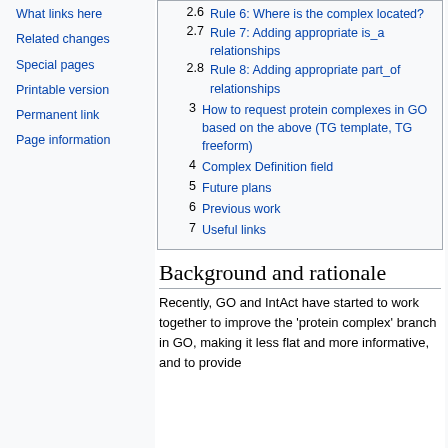What links here
Related changes
Special pages
Printable version
Permanent link
Page information
2.6 Rule 6: Where is the complex located?
2.7 Rule 7: Adding appropriate is_a relationships
2.8 Rule 8: Adding appropriate part_of relationships
3 How to request protein complexes in GO based on the above (TG template, TG freeform)
4 Complex Definition field
5 Future plans
6 Previous work
7 Useful links
Background and rationale
Recently, GO and IntAct have started to work together to improve the 'protein complex' branch in GO, making it less flat and more informative, and to provide